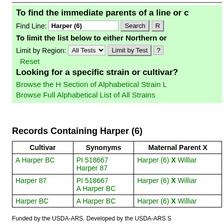To find the immediate parents of a line or c...
Find Line: Harper (6) [Search] [R...]
To limit the list below to either Northern or...
Limit by Region: All Tests v [Limit by Test] [?]
Reset
Looking for a specific strain or cultivar?
Browse the H Section of Alphabetical Strain L...
Browse Full Alphabetical List of All Strains
Records Containing Harper (6)
| Cultivar | Synonyms | Maternal Parent X... |
| --- | --- | --- |
| A Harper BC | PI 518667
Harper 87 | Harper (6) X Williar... |
| Harper 87 | PI 518667
A Harper BC | Harper (6) X Williar... |
| Harper BC | A Harper BC | Harper (6) X Williar... |
Funded by the USDA-ARS. Developed by the USDA-ARS S...